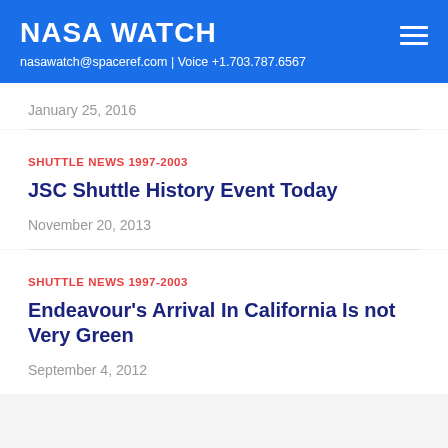NASA WATCH
nasawatch@spaceref.com | Voice +1.703.787.6567
January 25, 2016
SHUTTLE NEWS 1997-2003
JSC Shuttle History Event Today
November 20, 2013
SHUTTLE NEWS 1997-2003
Endeavour's Arrival In California Is not Very Green
September 4, 2012